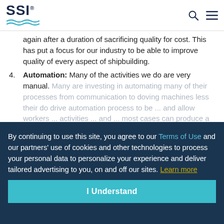SSI
again after a duration of sacrificing quality for cost. This has put a focus for our industry to be able to improve quality of every aspect of shipbuilding.
4. Automation: Many of the activities we do are very manual. Many are investing in automating many of their processes from communication to doving machines less their do drive automation process to be ... and allow workers ... activities ... and ... most cases can produce a better result.
By continuing to use this site, you agree to our Terms of Use and our partners' use of cookies and other technologies to process your personal data to personalize your experience and deliver tailored advertising to you, on and off our sites. Learn more
I Understand